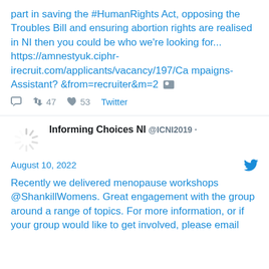part in saving the #HumanRights Act, opposing the Troubles Bill and ensuring abortion rights are realised in NI then you could be who we're looking for... https://amnestyuk.ciphr-irecruit.com/applicants/vacancy/197/Campaigns-Assistant?&from=recruiter&m=2 [image]
Reply  Retweet 47  Like 53  Twitter
Informing Choices NI @ICNI2019 · August 10, 2022
Recently we delivered menopause workshops @ShankillWomens. Great engagement with the group around a range of topics. For more information, or if your group would like to get involved, please email